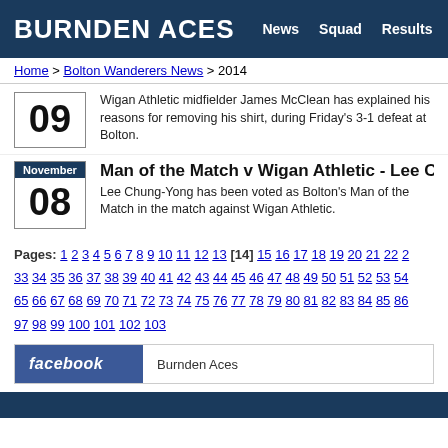BURNDEN ACES  News  Squad  Results  Standings
Home > Bolton Wanderers News > 2014
Wigan Athletic midfielder James McClean has explained his reasons for removing his shirt, during Friday's 3-1 defeat at Bolton.
Man of the Match v Wigan Athletic - Lee C
Lee Chung-Yong has been voted as Bolton's Man of the Match in the match against Wigan Athletic.
Pages: 1 2 3 4 5 6 7 8 9 10 11 12 13 [14] 15 16 17 18 19 20 21 22 2 33 34 35 36 37 38 39 40 41 42 43 44 45 46 47 48 49 50 51 52 53 54 65 66 67 68 69 70 71 72 73 74 75 76 77 78 79 80 81 82 83 84 85 86 97 98 99 100 101 102 103
facebook  Burnden Aces